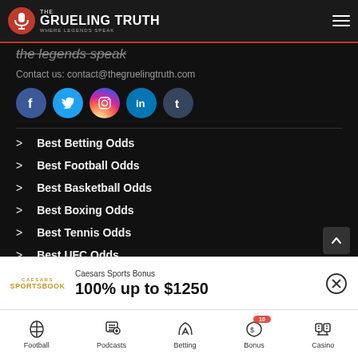The Grueling Truth — Where Legends Speak
the legends speak
Contact us: contact@thegruelingtruth.com
[Figure (other): Social media icons: Facebook, Twitter, Instagram, LinkedIn, Tumblr]
Best Betting Odds
Best Football Odds
Best Basketball Odds
Best Boxing Odds
Best Tennis Odds
Best UFC Odds
Caesars Sports Bonus
100% up to $1250
Football | Podcasts | Betting | Bonus (10) | Casino